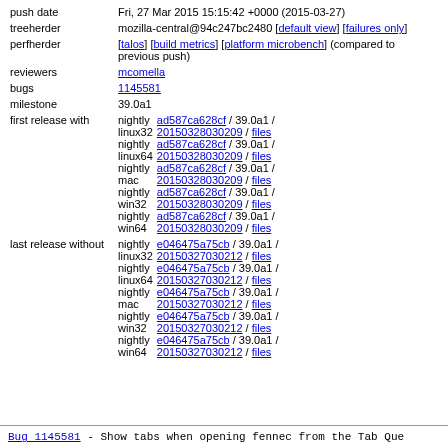| push date | Fri, 27 Mar 2015 15:15:42 +0000 (2015-03-27) |
| treeherder | mozilla-central@94c247bc2480 [default view] [failures only] |
| perfherder | [talos] [build metrics] [platform microbench] (compared to previous push) |
| reviewers | mcomella |
| bugs | 1145581 |
| milestone | 39.0a1 |
| first release with | nightly linux32 ad587ca628cf / 39.0a1 / 20150328030209 / files
nightly linux64 ad587ca628cf / 39.0a1 / 20150328030209 / files
nightly mac ad587ca628cf / 39.0a1 / 20150328030209 / files
nightly win32 ad587ca628cf / 39.0a1 / 20150328030209 / files
nightly win64 ad587ca628cf / 39.0a1 / 20150328030209 / files |
| last release without | nightly linux32 e046475a75cb / 39.0a1 / 20150327030212 / files
nightly linux64 e046475a75cb / 39.0a1 / 20150327030212 / files
nightly mac e046475a75cb / 39.0a1 / 20150327030212 / files
nightly win32 e046475a75cb / 39.0a1 / 20150327030212 / files
nightly win64 e046475a75cb / 39.0a1 / 20150327030212 / files |
Bug 1145581 - Show tabs when opening fennec from the Tab Que